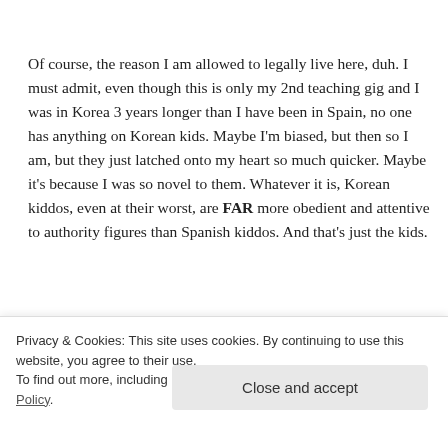Of course, the reason I am allowed to legally live here, duh. I must admit, even though this is only my 2nd teaching gig and I was in Korea 3 years longer than I have been in Spain, no one has anything on Korean kids. Maybe I'm biased, but then so I am, but they just latched onto my heart so much quicker. Maybe it's because I was so novel to them. Whatever it is, Korean kiddos, even at their worst, are FAR more obedient and attentive to authority figures than Spanish kiddos. And that's just the kids.
The teachers do NOT know how to discipline the students.
Privacy & Cookies: This site uses cookies. By continuing to use this website, you agree to their use.
To find out more, including how to control cookies, see here: Cookie Policy
Close and accept